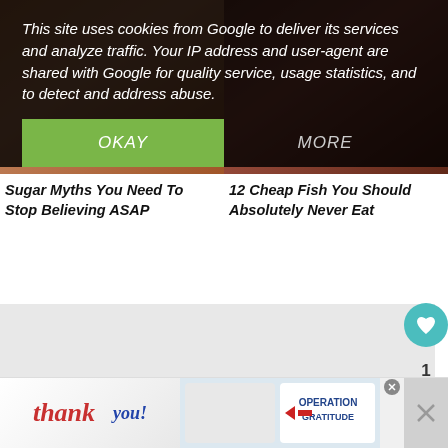This site uses cookies from Google to deliver its services and analyze traffic. Your IP address and user-agent are shared with Google for quality service, usage statistics, and to detect and address abuse.
OKAY
MORE
Sugar Myths You Need To Stop Believing ASAP
12 Cheap Fish You Should Absolutely Never Eat
1
140 comments:
WHAT'S NEXT → Gooseberry Patch The...
Amber Dalton   Monday, November 19, 2012
My favorite Christmas memory is making Raindeer food with my